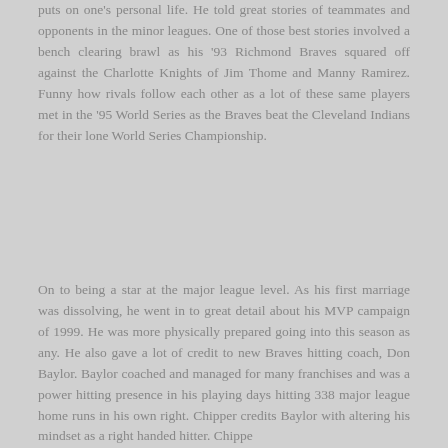puts on one's personal life. He told great stories of teammates and opponents in the minor leagues. One of those best stories involved a bench clearing brawl as his '93 Richmond Braves squared off against the Charlotte Knights of Jim Thome and Manny Ramirez. Funny how rivals follow each other as a lot of these same players met in the '95 World Series as the Braves beat the Cleveland Indians for their lone World Series Championship.
On to being a star at the major league level. As his first marriage was dissolving, he went in to great detail about his MVP campaign of 1999. He was more physically prepared going into this season as any. He also gave a lot of credit to new Braves hitting coach, Don Baylor. Baylor coached and managed for many franchises and was a power hitting presence in his playing days hitting 338 major league home runs in his own right. Chipper credits Baylor with altering his mindset as a right handed hitter. Chippe